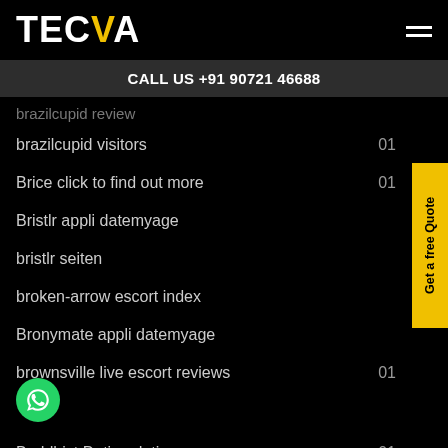TECVA — CALL US +91 90721 46688
brazilcupid review (cropped)
brazilcupid visitors 01
Brice click to find out more 01
Bristlr appli datemyage
bristlr seiten
broken-arrow escort index
Bronymate appli datemyage
brownsville live escort reviews 01
Buddhist Dating dating 01
Buddhist Dating services 01